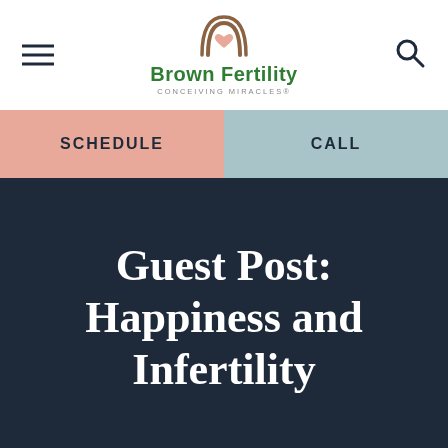Brown Fertility — CONCEIVING MIRACLES
SCHEDULE
CALL
Guest Post: Happiness and Infertility